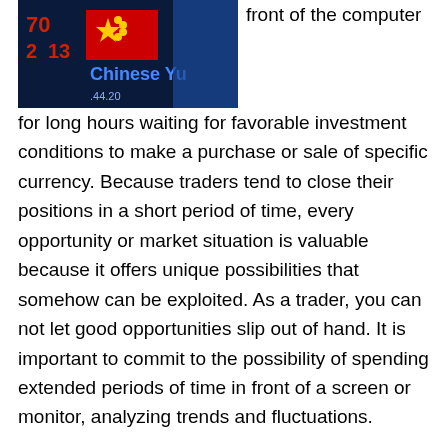[Figure (photo): Photo showing Chinese Yuan trading screen with Chinese flag and digital currency ticker numbers in red on dark background, text 'Chinese Yu' visible]
front of the computer for long hours waiting for favorable investment conditions to make a purchase or sale of specific currency. Because traders tend to close their positions in a short period of time, every opportunity or market situation is valuable because it offers unique possibilities that somehow can be exploited. As a trader, you can not let good opportunities slip out of hand. It is important to commit to the possibility of spending extended periods of time in front of a screen or monitor, analyzing trends and fluctuations.
Many beginners make the mistake of thinking that Forex trading is done only in one or two hours a day. The truth is very different; to generate profits by investing on a daily basis, high levels of concentration and perseverance for extended periods of time are a must. Also, the trader must